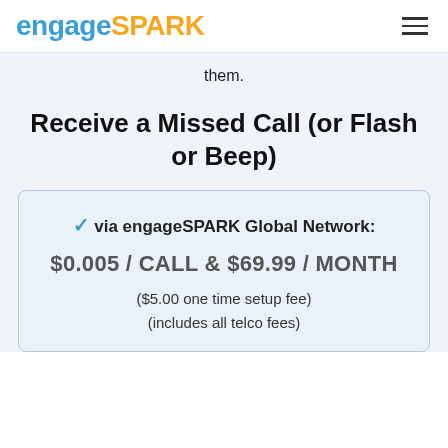engageSPARK
them.
Receive a Missed Call (or Flash or Beep)
✓ via engageSPARK Global Network:
$0.005 / CALL & $69.99 / MONTH
($5.00 one time setup fee)
(includes all telco fees)